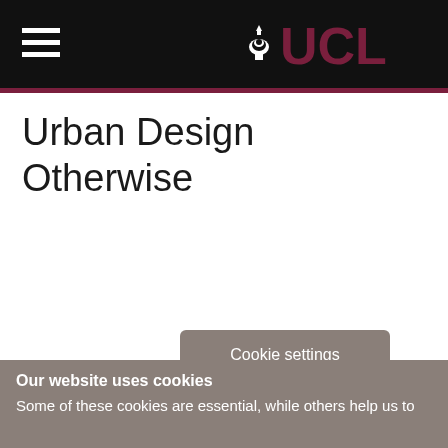UCL
Urban Design Otherwise
Cookie settings
Our website uses cookies
Some of these cookies are essential, while others help us to